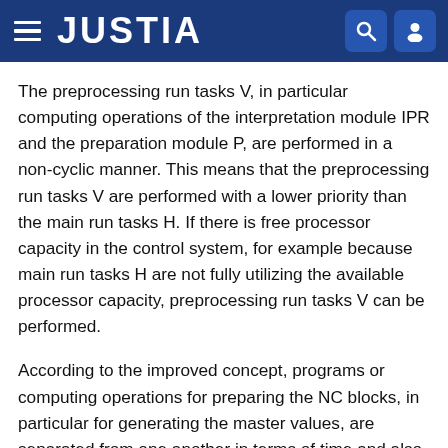JUSTIA
The preprocessing run tasks V, in particular computing operations of the interpretation module IPR and the preparation module P, are performed in a non-cyclic manner. This means that the preprocessing run tasks V are performed with a lower priority than the main run tasks H. If there is free processor capacity in the control system, for example because main run tasks H are not fully utilizing the available processor capacity, preprocessing run tasks V can be performed.
According to the improved concept, programs or computing operations for preparing the NC blocks, in particular for generating the master values, are separated from one another in terms of time and also with respect to the process paths from programs or computing operations for preparing the curve table, i.e.